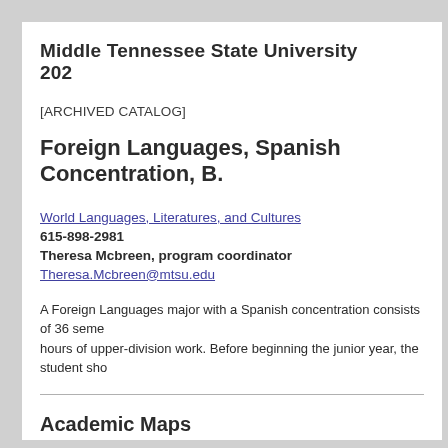Middle Tennessee State University  202
[ARCHIVED CATALOG]
Foreign Languages, Spanish Concentration, B.
World Languages, Literatures, and Cultures
615-898-2981
Theresa Mcbreen, program coordinator
Theresa.Mcbreen@mtsu.edu
A Foreign Languages major with a Spanish concentration consists of 36 seme hours of upper-division work. Before beginning the junior year, the student sho
Academic Maps
Following are printable, suggested four-year schedules of courses: